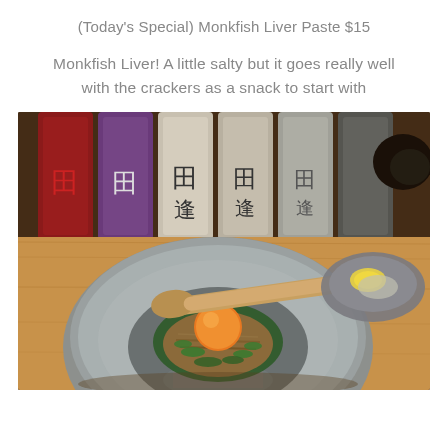(Today's Special) Monkfish Liver Paste $15
Monkfish Liver! A little salty but it goes really well with the crackers as a snack to start with
[Figure (photo): A ceramic bowl with monkfish liver paste topped with an egg yolk and chopped green onions, with a wooden spoon resting on it. Japanese sake bottles visible in the background on a wooden table.]